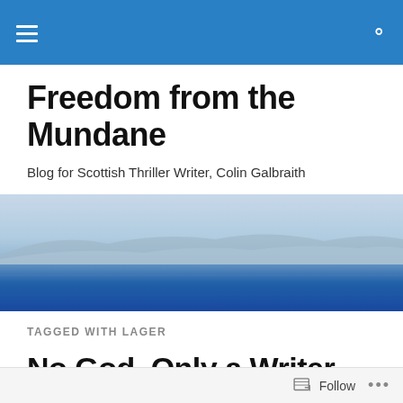Navigation bar with hamburger menu and search icon
Freedom from the Mundane
Blog for Scottish Thriller Writer, Colin Galbraith
[Figure (photo): Panoramic photo of a calm blue sea with hazy mountains or hills visible in the misty distance along the horizon]
TAGGED WITH LAGER
No God, Only a Writer
Follow   ...